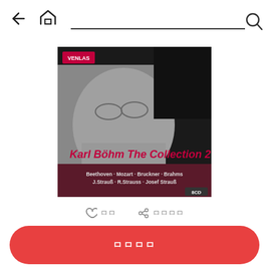[Figure (screenshot): Mobile app navigation bar with back arrow, home icon, search bar and search icon]
[Figure (photo): Album cover for Karl Böhm The Collection 2 - black and white photo of a man with glasses, with red text overlay. Subtitle lists: Beethoven, Mozart, Bruckner, Brahms, J.Strauß, R.Strauss, Josef Strauß. VENLAS label in top left. 8CD set badge in bottom right.]
♡ ㅁㅁ   🔑 ㅁㅁㅁㅁ
ㅁㅁㅁㅁ